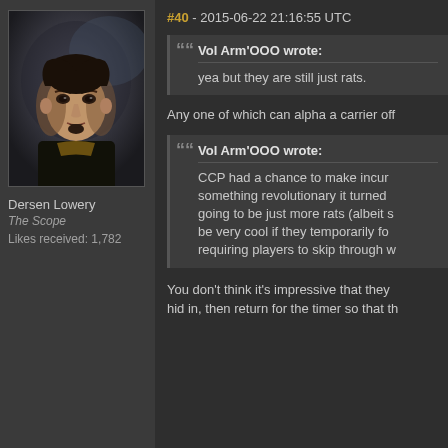[Figure (photo): Forum user avatar showing a dark-clothed male character with goatee against a dark moody background]
Dersen Lowery
The Scope
Likes received: 1,782
#40 - 2015-06-22 21:16:55 UTC
Vol Arm'OOO wrote:
yea but they are still just rats.
Any one of which can alpha a carrier off
Vol Arm'OOO wrote:
CCP had a chance to make incur something revolutionary it turned going to be just more rats (albeit s be very cool if they temporarily fo requiring players to skip through w
You don't think it's impressive that they hid in, then return for the timer so that th